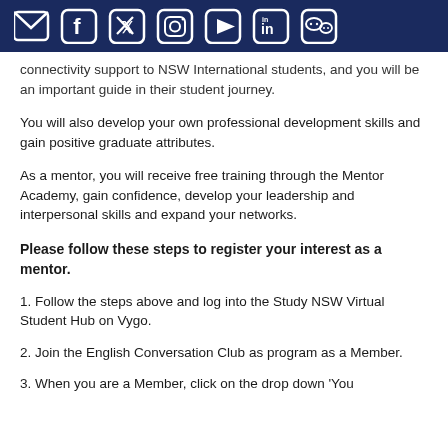[Social media icons: email, facebook, twitter, instagram, youtube, linkedin, wechat]
connectivity support to NSW International students, and you will be an important guide in their student journey.
You will also develop your own professional development skills and gain positive graduate attributes.
As a mentor, you will receive free training through the Mentor Academy, gain confidence, develop your leadership and interpersonal skills and expand your networks.
Please follow these steps to register your interest as a mentor.
1. Follow the steps above and log into the Study NSW Virtual Student Hub on Vygo.
2. Join the English Conversation Club as program as a Member.
3. When you are a Member, click on the drop down 'You